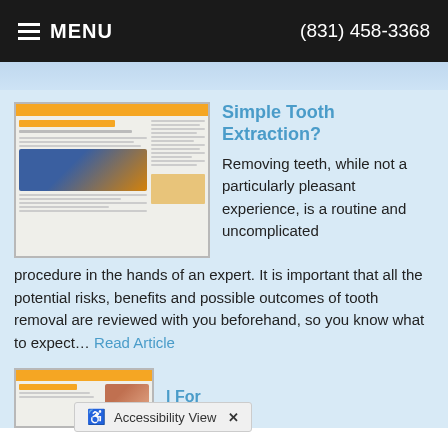MENU   (831) 458-3368
[Figure (screenshot): Thumbnail image of a dental article page titled 'Simple Tooth Extraction?' with orange header bar, text columns, a tooth x-ray image, and a highlighted box.]
Simple Tooth Extraction?
Removing teeth, while not a particularly pleasant experience, is a routine and uncomplicated procedure in the hands of an expert. It is important that all the potential risks, benefits and possible outcomes of tooth removal are reviewed with you beforehand, so you know what to expect… Read Article
[Figure (screenshot): Thumbnail image of a second dental article about tooth removal with orange header bar and a dental photo.]
l For
♿ Accessibility View  ✕